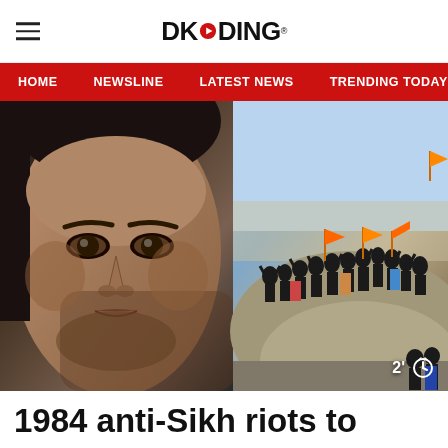DKODING
[Figure (screenshot): Navigation bar with links: HOME, NEWSLINE, LATEST NEWS, TRENDING TODAY, ENT...]
[Figure (photo): Composite hero image: left half shows close-up face of a man (Aamir Khan), right half shows a crowd of people on a large rock waving orange flags]
1984 anti-Sikh riots to